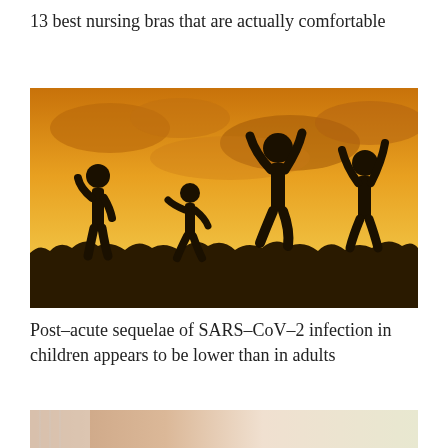13 best nursing bras that are actually comfortable
[Figure (photo): Silhouettes of four children jumping and playing outdoors against a warm golden sunset sky with clouds and grass/wildflowers in the foreground]
Post-acute sequelae of SARS-CoV-2 infection in children appears to be lower than in adults
[Figure (photo): Partial photo showing a person's arm or shoulder in soft light, appears to be related to the nursing bras article below]